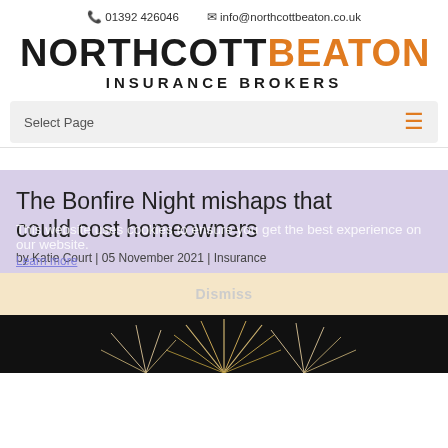01392 426046   info@northcottbeaton.co.uk
[Figure (logo): Northcott Beaton Insurance Brokers logo — NORTHCOTT in black, BEATON in orange, INSURANCE BROKERS below in black]
Select Page
The Bonfire Night mishaps that could cost homeowners
This website uses cookies to ensure you get the best experience on our website.
Learn more
by Katie Court | 05 November 2021 | Insurance
Dismiss
[Figure (photo): Fireworks exploding against a dark night sky, bottom portion visible]